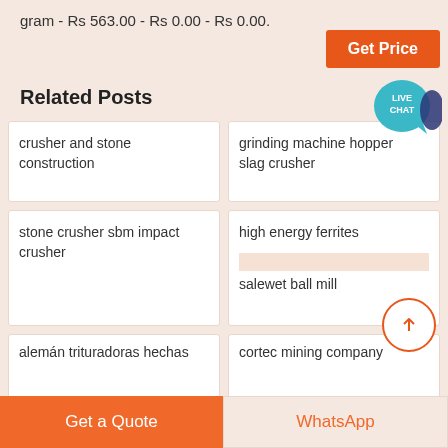gram - Rs 563.00 - Rs 0.00 - Rs 0.00.
[Figure (other): Orange 'Get Price' button with teal 'LIVE CHAT' speech bubble icon]
Related Posts
crusher and stone construction
grinding machine hopper
slag crusher
stone crusher sbm impact crusher
high energy ferrites
salewet ball mill
alemán trituradoras hechas
cortec mining company
Get a Quote
WhatsApp